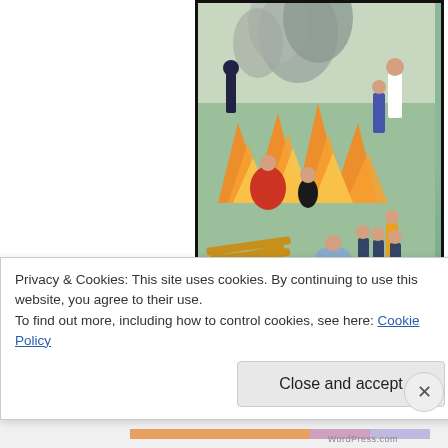[Figure (illustration): Historical illustration of a large fire/bonfire scene with figures in period clothing surrounding flames, smoke rising, and logs on the ground. Colorful painted style.]
with all-out attack...
[Figure (photo): Black and white photograph showing what appears to be stakes or posts in smoke or clouds, historical scene.]
Privacy & Cookies: This site uses cookies. By continuing to use this website, you agree to their use.
To find out more, including how to control cookies, see here: Cookie Policy
Close and accept